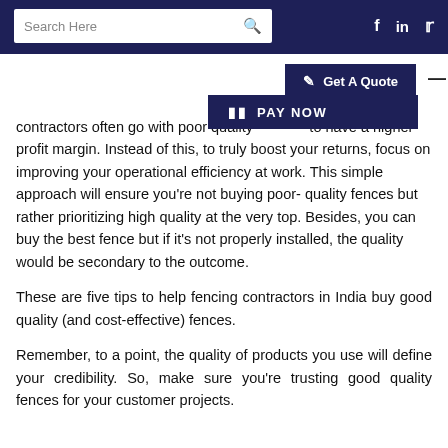Search Here | f in Twitter
Get A Quote | PAY NOW
contractors often go with poor quality to have a higher profit margin. Instead of this, to truly boost your returns, focus on improving your operational efficiency at work. This simple approach will ensure you're not buying poor-quality fences but rather prioritizing high quality at the very top. Besides, you can buy the best fence but if it's not properly installed, the quality would be secondary to the outcome.
These are five tips to help fencing contractors in India buy good quality (and cost-effective) fences.
Remember, to a point, the quality of products you use will define your credibility. So, make sure you're trusting good quality fences for your customer projects.